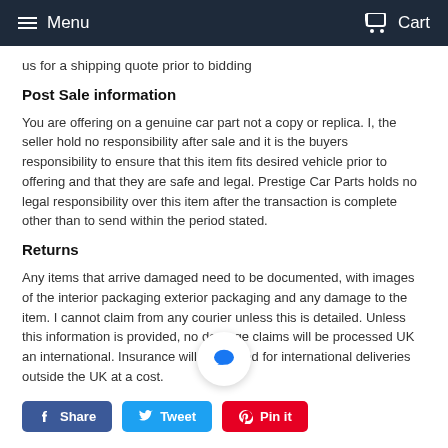Menu   Cart
us for a shipping quote prior to bidding
Post Sale information
You are offering on a genuine car part not a copy or replica. I, the seller hold no responsibility after sale and it is the buyers responsibility to ensure that this item fits desired vehicle prior to offering and that they are safe and legal. Prestige Car Parts holds no legal responsibility over this item after the transaction is complete other than to send within the period stated.
Returns
Any items that arrive damaged need to be documented, with images of the interior packaging exterior packaging and any damage to the item. I cannot claim from any courier unless this is detailed. Unless this information is provided, no damage claims will be processed UK an international. Insurance will be offered for international deliveries outside the UK at a cost.